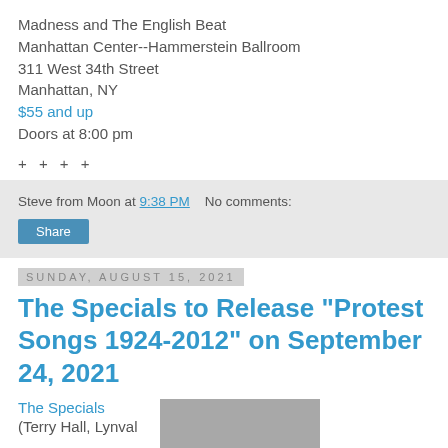Madness and The English Beat
Manhattan Center--Hammerstein Ballroom
311 West 34th Street
Manhattan, NY
$55 and up
Doors at 8:00 pm
+ + + +
Steve from Moon at 9:38 PM   No comments:
Share
Sunday, August 15, 2021
The Specials to Release "Protest Songs 1924-2012" on September 24, 2021
The Specials
(Terry Hall, Lynval
[Figure (photo): Gray image placeholder for article photo]